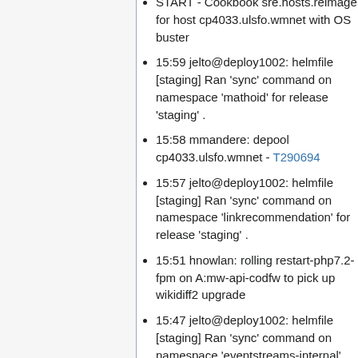START - Cookbook sre.hosts.reimage for host cp4033.ulsfo.wmnet with OS buster
15:59 jelto@deploy1002: helmfile [staging] Ran 'sync' command on namespace 'mathoid' for release 'staging' .
15:58 mmandere: depool cp4033.ulsfo.wmnet - T290694
15:57 jelto@deploy1002: helmfile [staging] Ran 'sync' command on namespace 'linkrecommendation' for release 'staging' .
15:51 hnowlan: rolling restart-php7.2-fpm on A:mw-api-codfw to pick up wikidiff2 upgrade
15:47 jelto@deploy1002: helmfile [staging] Ran 'sync' command on namespace 'eventstreams-internal' for release 'staging' .